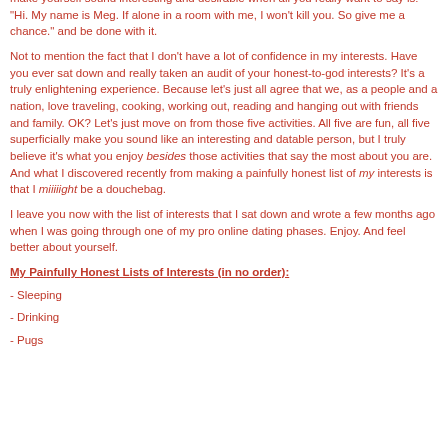make yourself sound interesting and desirable when all you really want to say is: "Hi. My name is Meg. If alone in a room with me, I won't kill you. So give me a chance." and be done with it.
Not to mention the fact that I don't have a lot of confidence in my interests. Have you ever sat down and really taken an audit of your honest-to-god interests? It's a truly enlightening experience. Because let's just all agree that we, as a people and a nation, love traveling, cooking, working out, reading and hanging out with friends and family. OK? Let's just move on from those five activities. All five are fun, all five superficially make you sound like an interesting and datable person, but I truly believe it's what you enjoy besides those activities that say the most about you are. And what I discovered recently from making a painfully honest list of my interests is that I miiiiight be a douchebag.
I leave you now with the list of interests that I sat down and wrote a few months ago when I was going through one of my pro online dating phases. Enjoy. And feel better about yourself.
My Painfully Honest Lists of Interests (in no order):
- Sleeping
- Drinking
- Pugs